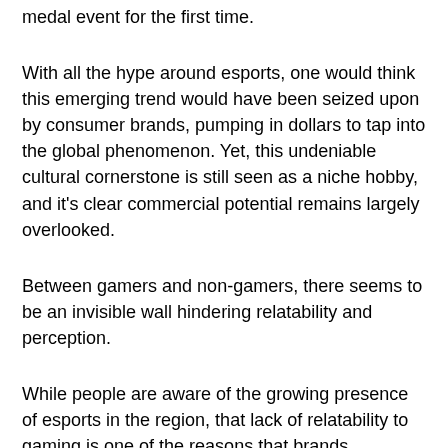medal event for the first time.
With all the hype around esports, one would think this emerging trend would have been seized upon by consumer brands, pumping in dollars to tap into the global phenomenon. Yet, this undeniable cultural cornerstone is still seen as a niche hobby, and it's clear commercial potential remains largely overlooked.
Between gamers and non-gamers, there seems to be an invisible wall hindering relatability and perception.
While people are aware of the growing presence of esports in the region, that lack of relatability to gaming is one of the reasons that brands, especially non-endemic ones, have yet to take a closer look. We might have peripheral awareness of a friend who plays football every Sunday, but how often do we know of the same friend’s gaming habits?
In terms of perception, gamers describe themselves as fun